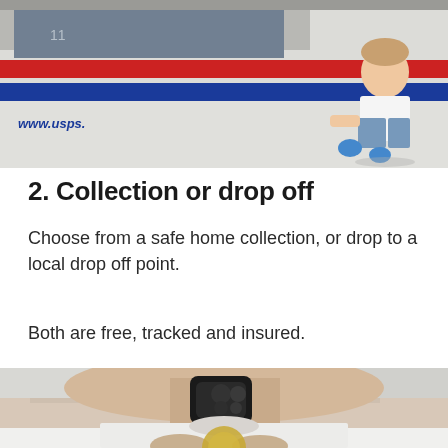[Figure (photo): A USPS postal truck with red and blue stripes, with a person sitting at the back wearing blue gloves. The text 'www.usps.' is visible on the truck.]
2. Collection or drop off
Choose from a safe home collection, or drop to a local drop off point.
Both are free, tracked and insured.
[Figure (photo): Close-up of an elderly man with white hair and mustache holding a round object near his mouth, with a black device near his nose.]